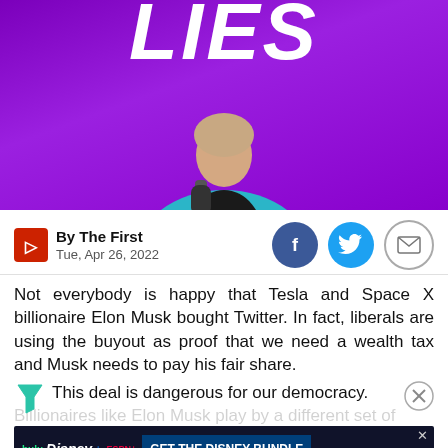[Figure (photo): Photo of a woman in a teal/blue cardigan holding a microphone on a purple background. Partial text 'LIES' visible at top in white bold italic letters.]
By The First
Tue, Apr 26, 2022
[Figure (infographic): Social sharing icons: Facebook (dark blue circle), Twitter (light blue circle), Email (grey outlined circle)]
Not everybody is happy that Tesla and Space X billionaire Elon Musk bought Twitter. In fact, liberals are using the buyout as proof that we need a wealth tax and Musk needs to pay his fair share.
This deal is dangerous for our democracy. Billionaires like Elon Musk play by a different set of rules. We need a strong wealth tax to limit the power of the uber-wealthy. We need a wealth tax and strong rules to hold Big Tech accountable. Something needs to change, like now
[Figure (screenshot): Advertisement banner for Disney Bundle with Hulu, Disney+, and ESPN+ logos and text 'GET THE DISNEY BUNDLE'. Includes fine print: 'Incl. Hulu (ad-supported) or Hulu (No Ads). Access content from each service separately. ©2021 Disney and its related entities.']